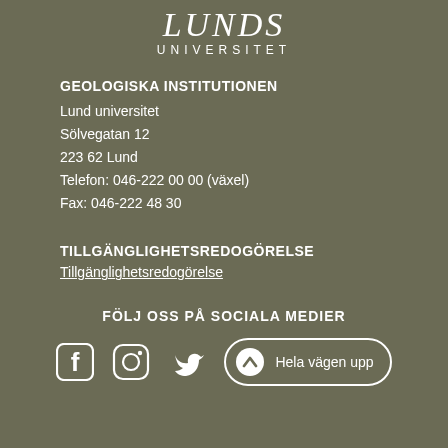[Figure (logo): Lunds Universitet logo text at top center]
GEOLOGISKA INSTITUTIONEN
Lund universitet
Sölvegatan 12
223 62 Lund
Telefon: 046-222 00 00 (växel)
Fax: 046-222 48 30
TILLGÄNGLIGHETSREDOGÖRELSE
Tillgänglighetsredogörelse
FÖLJ OSS PÅ SOCIALA MEDIER
[Figure (infographic): Social media icons: Facebook, Instagram, Twitter, and a scroll-to-top button with text 'Hela vägen upp']